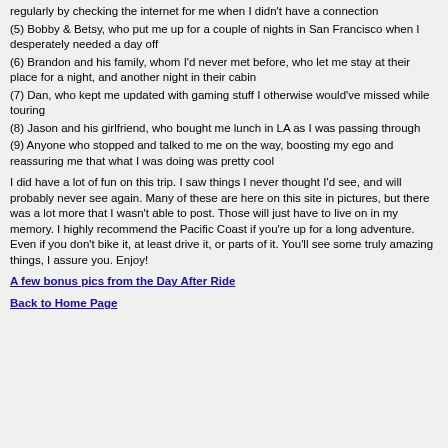regularly by checking the internet for me when I didn't have a connection
(5) Bobby & Betsy, who put me up for a couple of nights in San Francisco when I desperately needed a day off
(6) Brandon and his family, whom I'd never met before, who let me stay at their place for a night, and another night in their cabin
(7) Dan, who kept me updated with gaming stuff I otherwise would've missed while touring
(8) Jason and his girlfriend, who bought me lunch in LA as I was passing through
(9) Anyone who stopped and talked to me on the way, boosting my ego and reassuring me that what I was doing was pretty cool
I did have a lot of fun on this trip. I saw things I never thought I'd see, and will probably never see again. Many of these are here on this site in pictures, but there was a lot more that I wasn't able to post. Those will just have to live on in my memory. I highly recommend the Pacific Coast if you're up for a long adventure. Even if you don't bike it, at least drive it, or parts of it. You'll see some truly amazing things, I assure you. Enjoy!
A few bonus pics from the Day After Ride
Back to Home Page